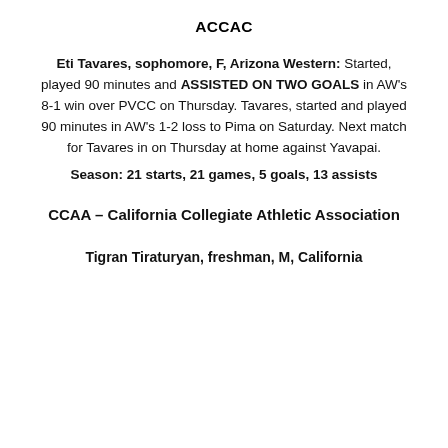ACCAC
Eti Tavares, sophomore, F, Arizona Western: Started, played 90 minutes and ASSISTED ON TWO GOALS in AW’s 8-1 win over PVCC on Thursday. Tavares, started and played 90 minutes in AW’s 1-2 loss to Pima on Saturday. Next match for Tavares in on Thursday at home against Yavapai.
Season: 21 starts, 21 games, 5 goals, 13 assists
CCAA – California Collegiate Athletic Association
Tigran Tiraturyan, freshman, M, California